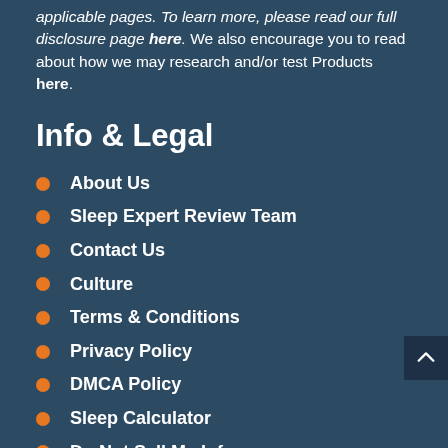applicable pages. To learn more, please read our full disclosure page here. We also encourage you to read about how we may research and/or test Products here.
Info & Legal
About Us
Sleep Expert Review Team
Contact Us
Culture
Terms & Conditions
Privacy Policy
DMCA Policy
Sleep Calculator
Do Not Sell My Info